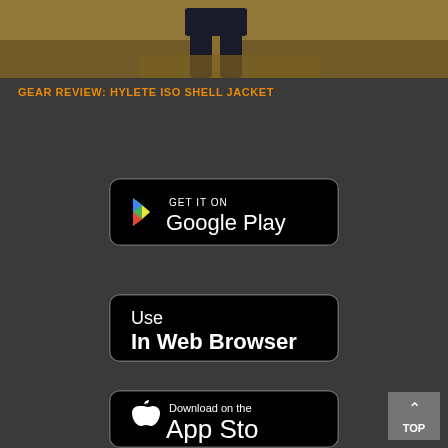[Figure (photo): Partial photo of a person in dark clothing standing in dry grass/field, only lower body visible]
GEAR REVIEW: HYLETE ISO SHELL JACKET
[Figure (other): GET IT ON Google Play button badge - black rounded rectangle with Google Play logo and text]
[Figure (other): Use In Web Browser button badge - black rounded rectangle with text]
[Figure (other): Download on the App Store button badge - black rounded rectangle with Apple logo and text (partially visible)]
[Figure (other): TOP scroll-to-top button in grey square with upward chevron arrow]